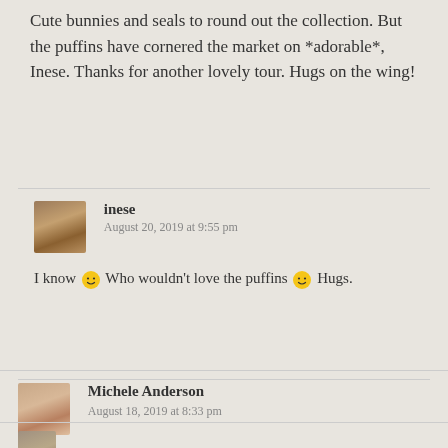Cute bunnies and seals to round out the collection. But the puffins have cornered the market on *adorable*, Inese. Thanks for another lovely tour. Hugs on the wing!
inese
August 20, 2019 at 9:55 pm
I know 🙂 Who wouldn't love the puffins 🙂 Hugs.
Michele Anderson
August 18, 2019 at 8:33 pm
These little guys are so adorable!